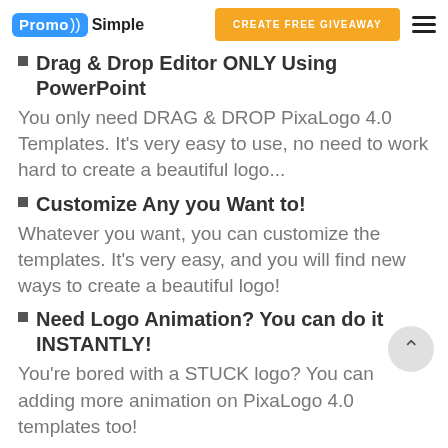PromoSimple | CREATE FREE GIVEAWAY
Drag & Drop Editor ONLY Using PowerPoint
You only need DRAG & DROP PixaLogo 4.0 Templates. It's very easy to use, no need to work hard to create a beautiful logo...
Customize Any you Want to!
Whatever you want, you can customize the templates. It's very easy, and you will find new ways to create a beautiful logo!
Need Logo Animation? You can do it INSTANTLY!
You're bored with a STUCK logo? You can adding more animation on PixaLogo 4.0 templates too!
Export to Image High Quality Format!